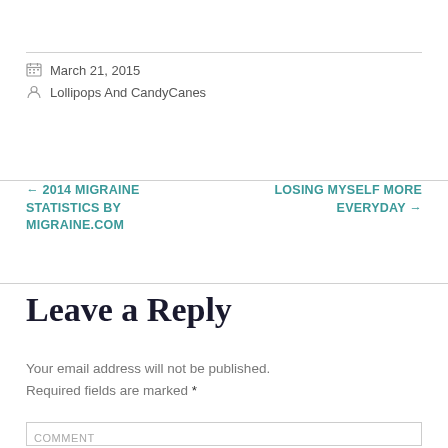March 21, 2015
Lollipops And CandyCanes
← 2014 MIGRAINE STATISTICS BY MIGRAINE.COM
LOSING MYSELF MORE EVERYDAY →
Leave a Reply
Your email address will not be published. Required fields are marked *
COMMENT